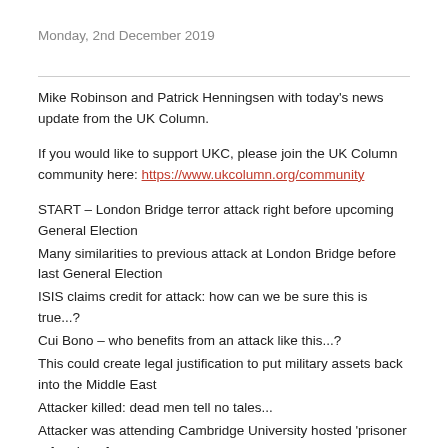Monday, 2nd December 2019
Mike Robinson and Patrick Henningsen with today's news update from the UK Column.
If you would like to support UKC, please join the UK Column community here: https://www.ukcolumn.org/community
START – London Bridge terror attack right before upcoming General Election
Many similarities to previous attack at London Bridge before last General Election
ISIS claims credit for attack: how can we be sure this is true...?
Cui Bono – who benefits from an attack like this...?
This could create legal justification to put military assets back into the Middle East
Attacker killed: dead men tell no tales...
Attacker was attending Cambridge University hosted 'prisoner reform' conference...